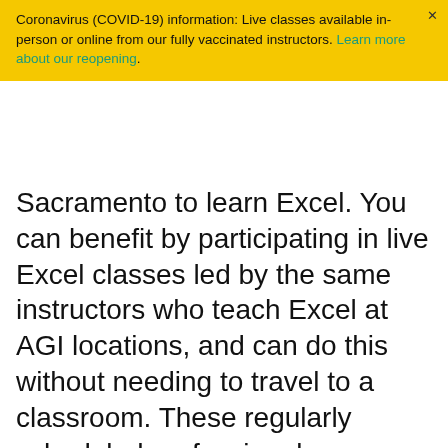Coronavirus (COVID-19) information: Live classes available in-person or online from our fully vaccinated instructors. Learn more about our reopening.
Sacramento to learn Excel. You can benefit by participating in live Excel classes led by the same instructors who teach Excel at AGI locations, and can do this without needing to travel to a classroom. These regularly scheduled professional development Excel courses occur in real-time and provide small-group sessions, making Excel classes accessible to those in and around Sacramento, California. Enrollment for these public Excel classes is available under the class dates section.